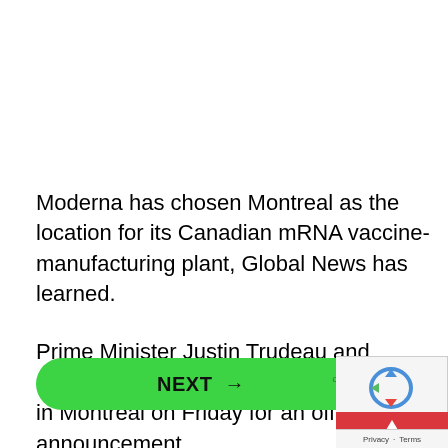Moderna has chosen Montreal as the location for its Canadian mRNA vaccine-manufacturing plant, Global News has learned.
Prime Minister Justin Trudeau and Quebec Premier François Legault will be in Montreal on Friday for an official announcement.
[Figure (other): Green NEXT button with arrow and 'on Newz Online' text beside it]